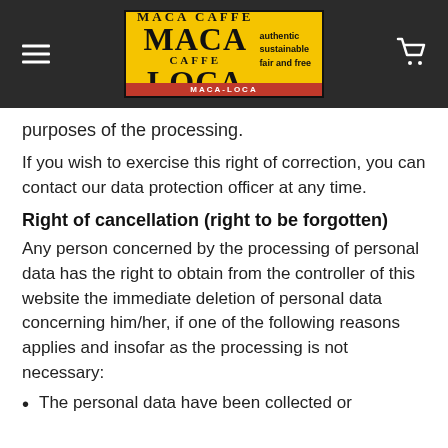Maca Loca - Navigation header with logo
purposes of the processing.
If you wish to exercise this right of correction, you can contact our data protection officer at any time.
Right of cancellation (right to be forgotten)
Any person concerned by the processing of personal data has the right to obtain from the controller of this website the immediate deletion of personal data concerning him/her, if one of the following reasons applies and insofar as the processing is not necessary:
The personal data have been collected or